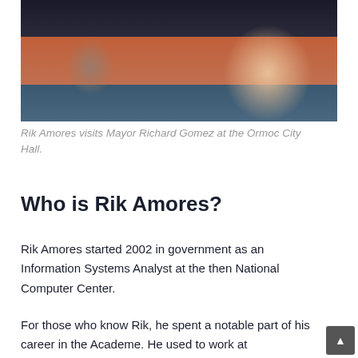[Figure (photo): Photo of Rik Amores visiting Mayor Richard Gomez at the Ormoc City Hall — two or more people visible, one wearing a red/orange shirt, another in a blue shirt, smiling.]
Rik Amores visits Mayor Richard Gomez at the Ormoc City Hall.
Who is Rik Amores?
Rik Amores started 2002 in government as an Information Systems Analyst at the then National Computer Center.
For those who know Rik, he spent a notable part of his career in the Academe. He used to work at